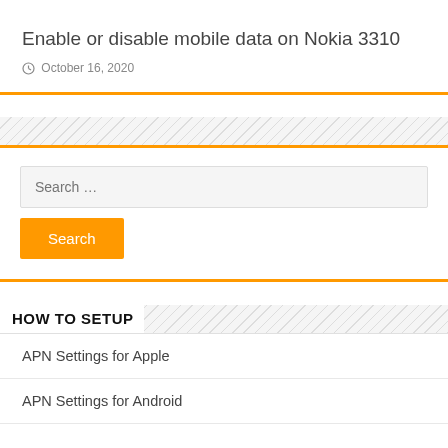Enable or disable mobile data on Nokia 3310
October 16, 2020
Search …
HOW TO SETUP
APN Settings for Apple
APN Settings for Android